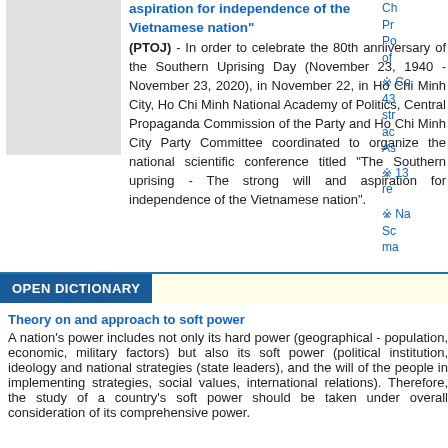[Figure (photo): Gray rectangular image placeholder on left side]
aspiration for independence of the Vietnamese nation"
(PTOJ) - In order to celebrate the 80th anniversary of the Southern Uprising Day (November 23, 1940 - November 23, 2020), in November 22, in Ho Chi Minh City, Ho Chi Minh National Academy of Politics, Central Propaganda Commission of the Party and Ho Chi Minh City Party Committee coordinated to organize the national scientific conference titled "The Southern uprising - The strong will and aspiration for independence of the Vietnamese nation".
Ch Pr Po of
Co 43 str ac As
13 re
Na Sc ma
OPEN DICTIONARY
Theory on and approach to soft power
A nation's power includes not only its hard power (geographical - population, economic, military factors) but also its soft power (political institution, ideology and national strategies (state leaders), and the will of the people in implementing strategies, social values, international relations). Therefore, the study of a country's soft power should be taken under overall consideration of its comprehensive power.